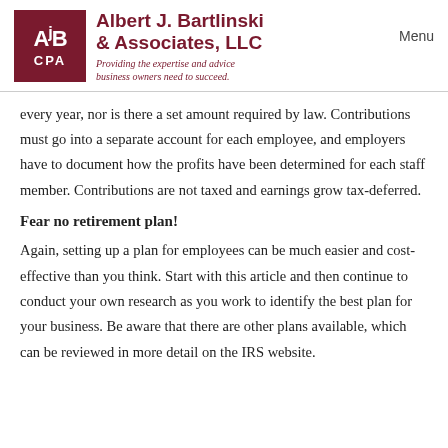Albert J. Bartlinski & Associates, LLC — Providing the expertise and advice business owners need to succeed. | Menu
every year, nor is there a set amount required by law. Contributions must go into a separate account for each employee, and employers have to document how the profits have been determined for each staff member. Contributions are not taxed and earnings grow tax-deferred.
Fear no retirement plan!
Again, setting up a plan for employees can be much easier and cost-effective than you think. Start with this article and then continue to conduct your own research as you work to identify the best plan for your business. Be aware that there are other plans available, which can be reviewed in more detail on the IRS website.